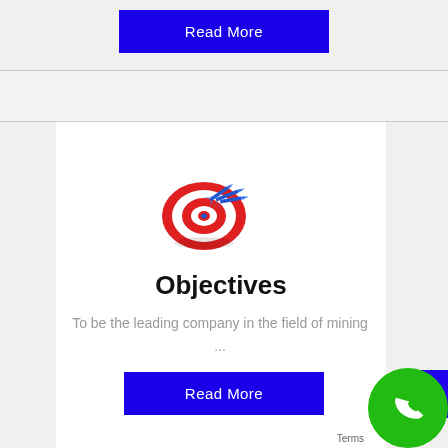[Figure (other): Blue 'Read More' button at top of page]
[Figure (illustration): Target/bullseye icon with blue darts hitting the center — objectives icon]
Objectives
To be the leading company in the field of mining ...
[Figure (other): Blue 'Read More' button]
[Figure (other): Green circle phone icon (contact button) in bottom right corner]
Terms